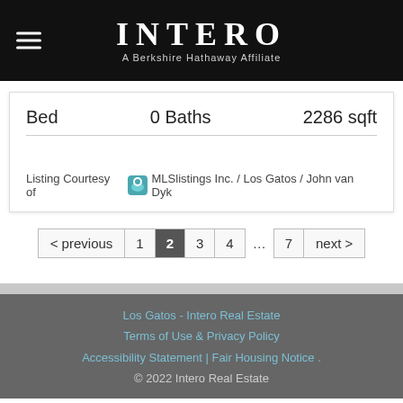INTERO A Berkshire Hathaway Affiliate
Bed   0 Baths   2286 sqft
Listing Courtesy of MLSlistings Inc. / Los Gatos / John van Dyk
< previous  1  2  3  4  ...  7  next >
Los Gatos - Intero Real Estate
Terms of Use  &  Privacy Policy
Accessibility Statement | Fair Housing Notice .
© 2022 Intero Real Estate